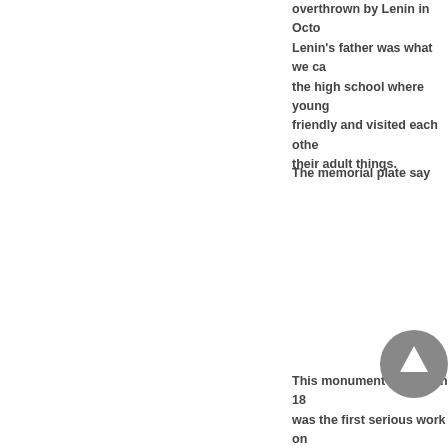overthrown by Lenin in Octo... Lenin's father was what we ca... the high school where young... friendly and visited each othe... their adult things.
The memorial plate say...
This monument erected in 18... was the first serious work on... pedestal is Clio the Muse of...
[Figure (other): A circular scroll-to-top navigation button with an upward arrow, dark grey background.]